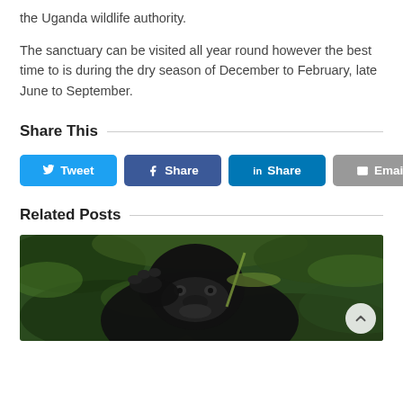the Uganda wildlife authority.
The sanctuary can be visited all year round however the best time to is during the dry season of December to February, late June to September.
Share This
[Figure (other): Social sharing buttons: Tweet (Twitter), Share (Facebook), Share (LinkedIn), Email]
Related Posts
[Figure (photo): Photo of a black gorilla eating in green foliage vegetation]